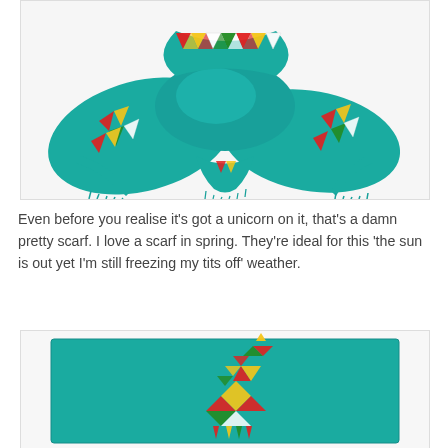[Figure (photo): A teal/turquoise scarf knotted and draped, with colorful geometric triangle pattern (red, yellow, green, white) along the edges and fringed ends, on a white background.]
Even before you realise it's got a unicorn on it, that's a damn pretty scarf. I love a scarf in spring. They're ideal for this 'the sun is out yet I'm still freezing my tits off' weather.
[Figure (photo): A flat teal/turquoise scarf laid out showing the geometric triangle unicorn motif in the center on the fabric.]